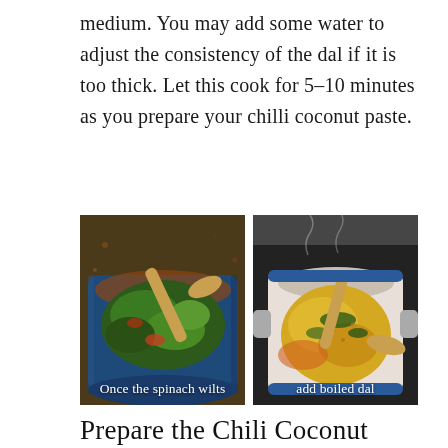medium. You may add some water to adjust the consistency of the dal if it is too thick. Let this cook for 5–10 minutes as you prepare your chilli coconut paste.
[Figure (photo): Two side-by-side cooking photos. Left: A blue pan with wilted spinach being stirred with a wooden spoon, captioned 'Once the spinach wilts'. Right: A blue Dutch oven with boiled yellow dal and spinach being stirred with a wooden spoon, captioned 'add boiled dal'.]
Prepare the Chili Coconut Paste